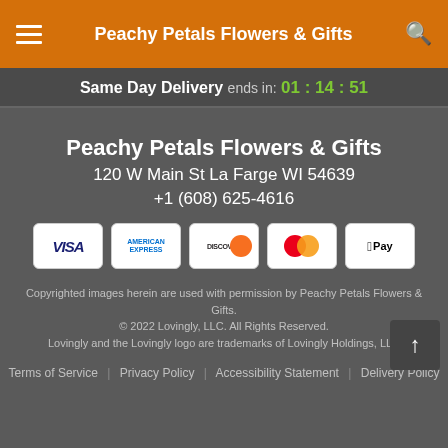Peachy Petals Flowers & Gifts
Same Day Delivery ends in: 01:14:51
Peachy Petals Flowers & Gifts
120 W Main St La Farge WI 54639
+1 (608) 625-4616
[Figure (other): Payment method icons: Visa, American Express, Discover, Mastercard, Apple Pay]
Copyrighted images herein are used with permission by Peachy Petals Flowers & Gifts.
© 2022 Lovingly, LLC. All Rights Reserved.
Lovingly and the Lovingly logo are trademarks of Lovingly Holdings, LLC
Terms of Service | Privacy Policy | Accessibility Statement | Delivery Policy